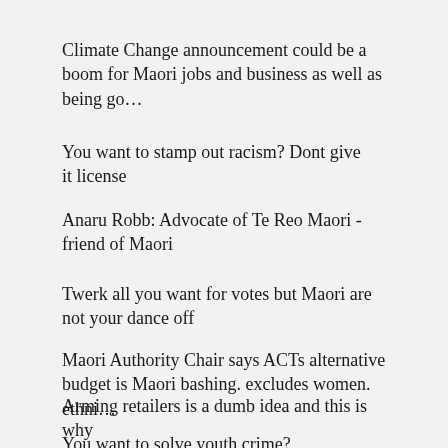Climate Change announcement could be a boom for Maori jobs and business as well as being go…
You want to stamp out racism? Dont give it license
Anaru Robb: Advocate of Te Reo Maori - friend of Maori
Twerk all you want for votes but Maori are not your dance off
Maori Authority Chair says ACTs alternative budget is Maori bashing. excludes women. ethni…
Arming retailers is a dumb idea and this is why
You want to solve youth crime?